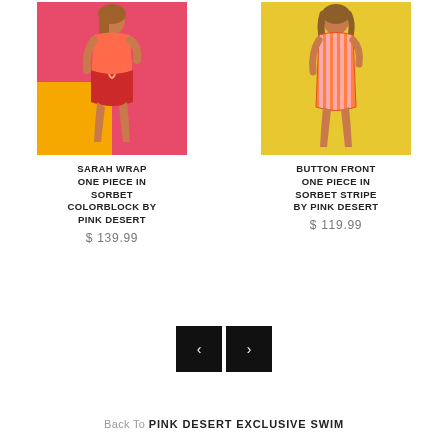[Figure (photo): Model wearing a coral/orange wrap one-piece swimsuit with colorblock design on pink and orange background]
SARAH WRAP ONE PIECE IN SORBET COLORBLOCK BY PINK DESERT
$ 139.99
[Figure (photo): Model wearing a pink and orange vertical stripe one-piece swimsuit on yellow background]
BUTTON FRONT ONE PIECE IN SORBET STRIPE BY PINK DESERT
$ 119.99
[Figure (other): Left and right navigation arrow buttons (black squares with chevron arrows)]
Back To PINK DESERT EXCLUSIVE SWIM